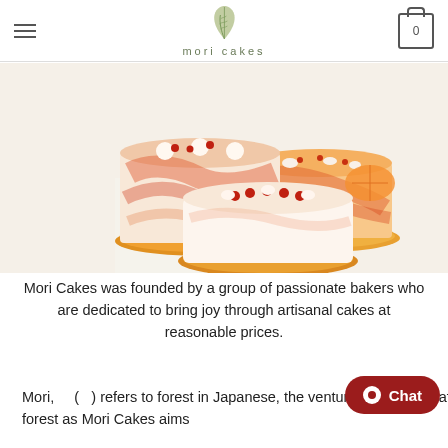mori cakes
[Figure (photo): Three decorative cakes with coral/pink and cream frosting, garnished with small red berries and cream rosettes, displayed on gold cake boards against a warm cream background.]
Mori Cakes was founded by a group of passionate bakers who are dedicated to bring joy through artisanal cakes at reasonable prices.
Mori,    (    ) refers to forest in Japanese, the venture was named after the forest as Mori Cakes aims